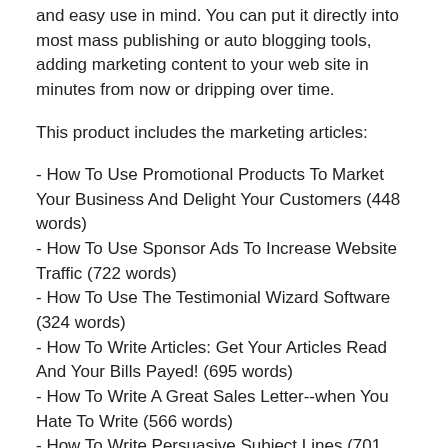and easy use in mind. You can put it directly into most mass publishing or auto blogging tools, adding marketing content to your web site in minutes from now or dripping over time.
This product includes the marketing articles:
- How To Use Promotional Products To Market Your Business And Delight Your Customers (448 words)
- How To Use Sponsor Ads To Increase Website Traffic (722 words)
- How To Use The Testimonial Wizard Software (324 words)
- How To Write Articles: Get Your Articles Read And Your Bills Payed! (695 words)
- How To Write A Great Sales Letter--when You Hate To Write (566 words)
- How To Write Persuasive Subject Lines (701 words)
- How To Write Press Releases That Gets Published...